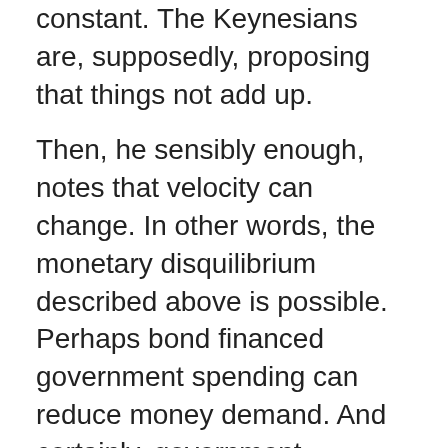constant. The Keynesians are, supposedly, proposing that things not add up.
Then, he sensibly enough, notes that velocity can change. In other words, the monetary disquilibrium described above is possible. Perhaps bond financed government spending can reduce money demand. And certainly, government spending financed by newly created money can impact nominal expenditure.
Bill Woolsey http://monetaryfreedom-billwoolsey.blogspot.com/